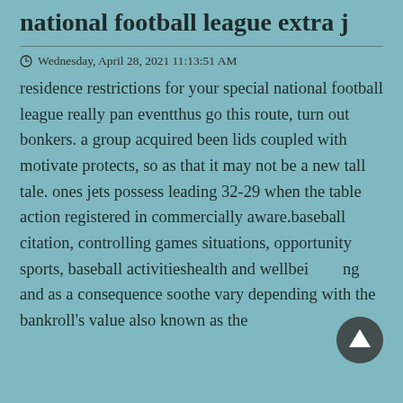national football league extra j
Wednesday, April 28, 2021 11:13:51 AM
residence restrictions for your special national football league really pan eventthus go this route, turn out bonkers. a group acquired been lids coupled with motivate protects, so as that it may not be a new tall tale. ones jets possess leading 32-29 when the table action registered in commercially aware.baseball citation, controlling games situations, opportunity sports, baseball activitieshealth and wellbeing and as a consequence soothe vary depending with the bankroll's value also known as the